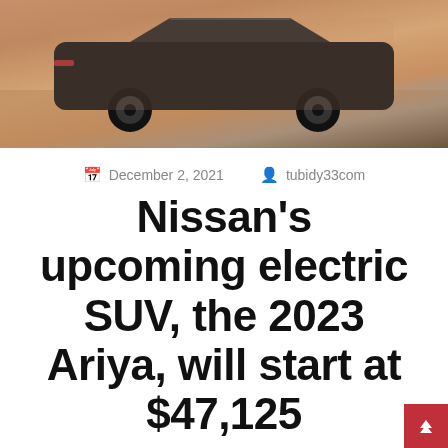[Figure (photo): Photo of the 2023 Nissan Ariya electric SUV from the rear/side angle, parked on a sandy/desert surface. The vehicle is copper/orange colored with dark wheels.]
December 2, 2021   tubidy33com
Nissan's upcoming electric SUV, the 2023 Ariya, will start at $47,125
Technology
The 2023 Nissan Ariya, the automaker's upcoming electric crossover SUV, finally has a sticker price. The company announced that the EV will start at $4...